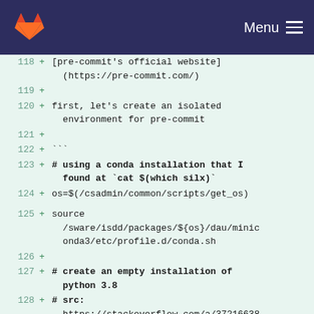Menu
[Figure (screenshot): GitLab navbar with logo and menu icon]
118  + [pre-commit's official website](https://pre-commit.com/)
119  +
120  + first, let's create an isolated environment for pre-commit
121  +
122  + ```
123  + # using a conda installation that I found at `cat $(which silx)`
124  + os=$(/csadmin/common/scripts/get_os)
125  + source /sware/isdd/packages/${os}/dau/miniconda3/etc/profile.d/conda.sh
126  +
127  + # create an empty installation of python 3.8
128  + # src: https://stackoverflow.com/a/37216638/9582881